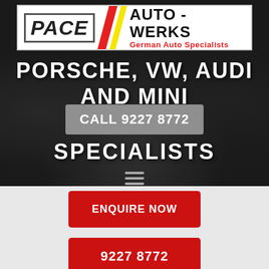[Figure (logo): Pace Auto-Werks logo banner: white background with PACE in bold italic text on the left, red and yellow diagonal slashes in the middle, AUTO-WERKS in bold text and 'German Auto Specialists' in red on the right]
PORSCHE, VW, AUDI AND MINI SPECIALISTS
CALL 9227 8772
ENQUIRE NOW
9227 8772